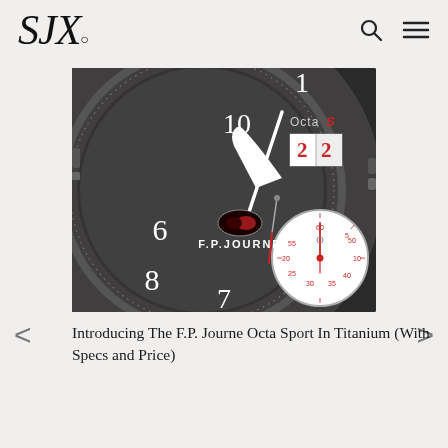SJx.
[Figure (photo): Close-up photo of an F.P. Journe Octa Sport watch dial in titanium, showing a dark gray dial with white Arabic numerals, red accents, a chronograph subdial at lower right with red hands, a date window showing '22' at upper right, an 'OctaS' inscription, and the brand name 'F.P.JOURNE' printed on the dial. The watch has a steel/titanium case with a bezel featuring tachymeter markings.]
Introducing The F.P. Journe Octa Sport In Titanium (With Specs and Price)